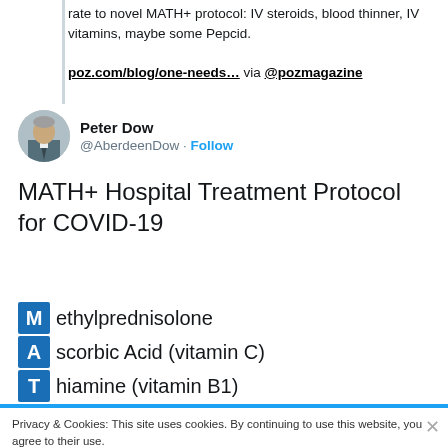rate to novel MATH+ protocol: IV steroids, blood thinner, IV vitamins, maybe some Pepcid.

poz.com/blog/one-needs… via @pozmagazine
Peter Dow @AberdeenDow · Follow
MATH+ Hospital Treatment Protocol for COVID-19
Methylprednisolone
Ascorbic Acid (vitamin C)
Thiamine (vitamin B1)
Privacy & Cookies: This site uses cookies. By continuing to use this website, you agree to their use.
To find out more, including how to control cookies, see here: Cookie Policy